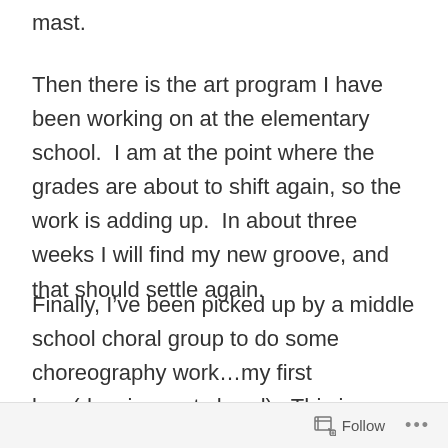mast.
Then there is the art program I have been working on at the elementary school.  I am at the point where the grades are about to shift again, so the work is adding up.  In about three weeks I will find my new groove, and that should settle again.
Finally, I’ve been picked up by a middle school choral group to do some choreography work…my first love(dancing, not choral).  This is so satisfying, to be back in my comfort zone, but I
Follow •••